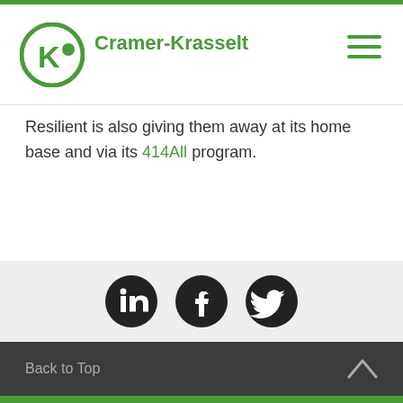Cramer-Krasselt
Resilient is also giving them away at its home base and via its 414All program.
[Figure (other): Social media icons: LinkedIn, Facebook, Twitter in dark circles on light grey bar]
Back to Top
[Figure (logo): Cramer-Krasselt CK logo in white on green background]